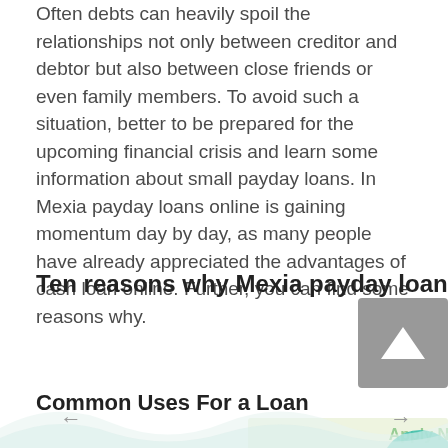Often debts can heavily spoil the relationships not only between creditor and debtor but also between close friends or even family members. To avoid such a situation, better to be prepared for the upcoming financial crisis and learn some information about small payday loans. In Mexia payday loans online is gaining momentum day by day, as many people have already appreciated the advantages of cash loan online. Further, you can find some reasons why.
Ten reasons why Mexia payday loans online are getting more popular
Common Uses For a Loan
[Figure (other): Apply Now promotional widget with light green background, a teal icon, and text 'Applying does not affect your credit score! No credit check to apply.' with navigation arrows on sides.]